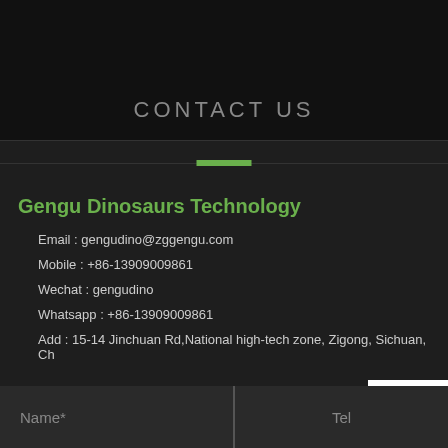CONTACT US
Gengu Dinosaurs Technology
Email : gengudino@zggengu.com
Mobile : +86-13909009861
Wechat : gengudino
Whatsapp : +86-13909009861
Add : 15-14 Jinchuan Rd,National high-tech zone, Zigong, Sichuan, Ch
Name*
Tel